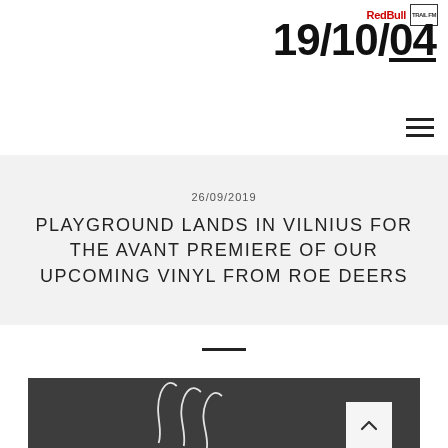Red Bull | TRAIL.FM — 19/10/04
26/09/2019
PLAYGROUND LANDS IN VILNIUS FOR THE AVANT PREMIERE OF OUR UPCOMING VINYL FROM ROE DEERS
[Figure (photo): Dark gray background with white curved abstract line illustrations, with a back-to-top arrow button in lower right corner]